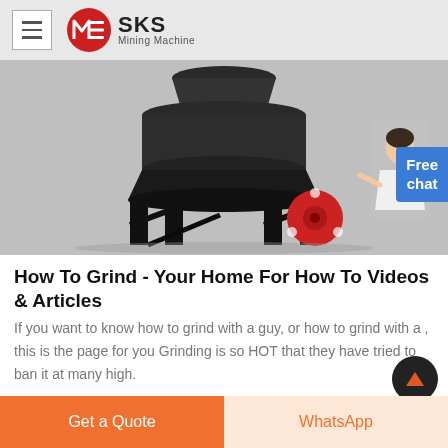SKS Mining Machine
[Figure (photo): Large industrial cone crusher machine with black metal body, red flywheel, and support frame legs on a light grey background. A female customer service avatar appears to the right.]
How To Grind - Your Home For How To Videos & Articles
If you want to know how to grind with a guy, or how to grind with a , this is the page for you Grinding is so HOT that they have tried to ban it at many high.